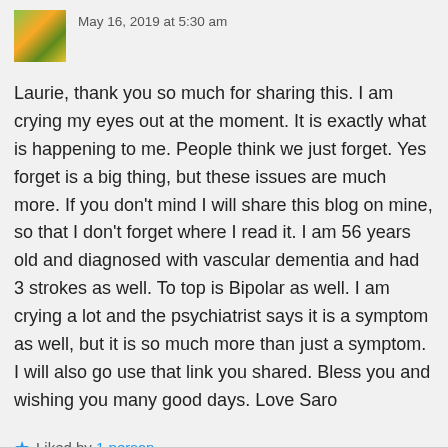May 16, 2019 at 5:30 am
Laurie, thank you so much for sharing this. I am crying my eyes out at the moment. It is exactly what is happening to me. People think we just forget. Yes forget is a big thing, but these issues are much more. If you don't mind I will share this blog on mine, so that I don't forget where I read it. I am 56 years old and diagnosed with vascular dementia and had 3 strokes as well. To top is Bipolar as well. I am crying a lot and the psychiatrist says it is a symptom as well, but it is so much more than just a symptom. I will also go use that link you shared. Bless you and wishing you many good days. Love Saro
★ Liked by 1 person
Reply ↓